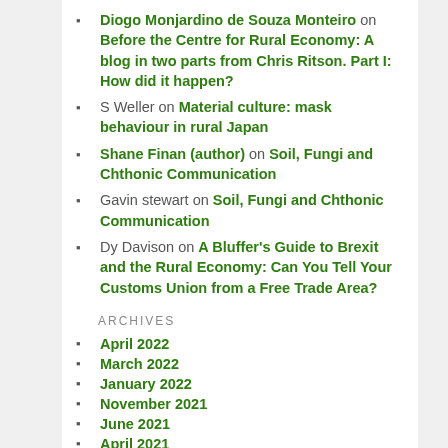Diogo Monjardino de Souza Monteiro on Before the Centre for Rural Economy: A blog in two parts from Chris Ritson. Part I: How did it happen?
S Weller on Material culture: mask behaviour in rural Japan
Shane Finan (author) on Soil, Fungi and Chthonic Communication
Gavin stewart on Soil, Fungi and Chthonic Communication
Dy Davison on A Bluffer's Guide to Brexit and the Rural Economy: Can You Tell Your Customs Union from a Free Trade Area?
ARCHIVES
April 2022
March 2022
January 2022
November 2021
June 2021
April 2021
March 2021